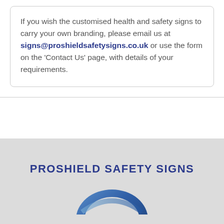If you wish the customised health and safety signs to carry your own branding, please email us at signs@proshieldsafetysigns.co.uk or use the form on the 'Contact Us' page, with details of your requirements.
PROSHIELD SAFETY SIGNS
[Figure (logo): Partial blue arc/shield logo of Proshield Safety Signs, cropped at bottom of page]